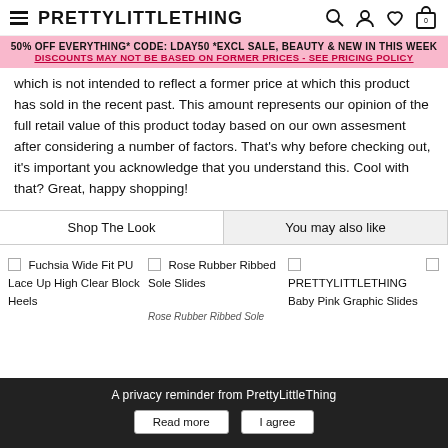PRETTYLITTLETHING
50% OFF EVERYTHING* CODE: LDAY50 *EXCL SALE, BEAUTY & NEW IN THIS WEEK
DISCOUNTS MAY NOT BE BASED ON FORMER PRICES - SEE PRICING POLICY
which is not intended to reflect a former price at which this product has sold in the recent past. This amount represents our opinion of the full retail value of this product today based on our own assesment after considering a number of factors. That's why before checking out, it's important you acknowledge that you understand this. Cool with that? Great, happy shopping!
Shop The Look
You may also like
Fuchsia Wide Fit PU Lace Up High Clear Block Heels
Rose Rubber Ribbed Sole Slides
PRETTYLITTLETHING Baby Pink Graphic Slides
A privacy reminder from PrettyLittleThing
Read more
I agree